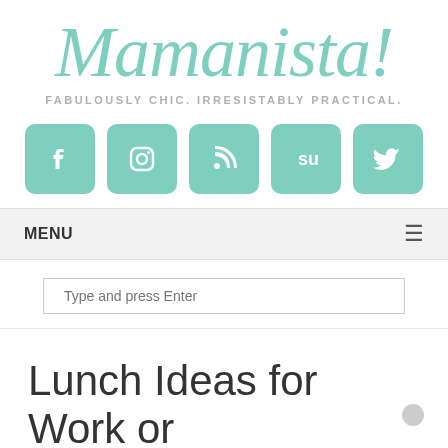Mamanista!
FABULOUSLY CHIC. IRRESISTABLY PRACTICAL.
[Figure (logo): Five teal rounded-square social media icons: Facebook (f), Instagram (camera), RSS (feed symbol), StumbleUpon (su), Twitter (bird)]
MENU
Type and press Enter
Lunch Ideas for Work or School